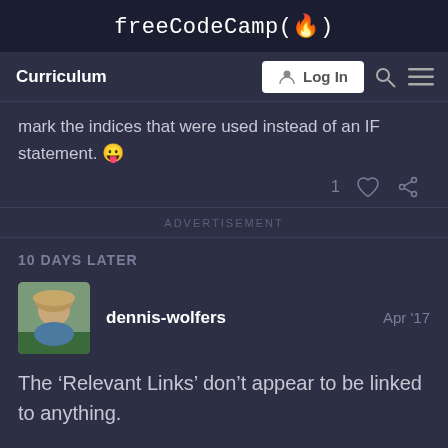freeCodeCamp(🔥)
Curriculum | Log In
mark the indices that were used instead of an IF statement. 😜
1 ♡ 🔗
ADVERTISEMENT
10 DAYS LATER
dennis-wolfers  Apr '17
The 'Relevant Links' don't appear to be linked to anything.